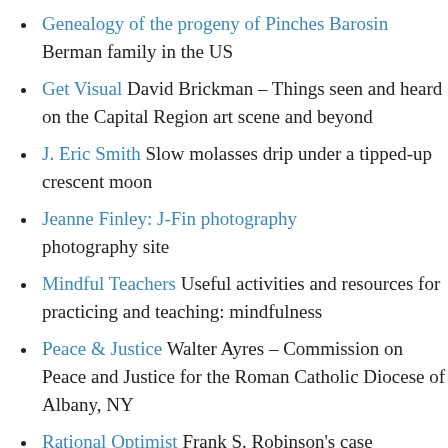Genealogy of the progeny of Pinches Barosin Berman family in the US
Get Visual David Brickman – Things seen and heard on the Capital Region art scene and beyond
J. Eric Smith Slow molasses drip under a tipped-up crescent moon
Jeanne Finley: J-Fin photography photography site
Mindful Teachers Useful activities and resources for practicing and teaching: mindfulness
Peace & Justice Walter Ayres – Commission on Peace and Justice for the Roman Catholic Diocese of Albany, NY
Rational Optimist Frank S. Robinson's case